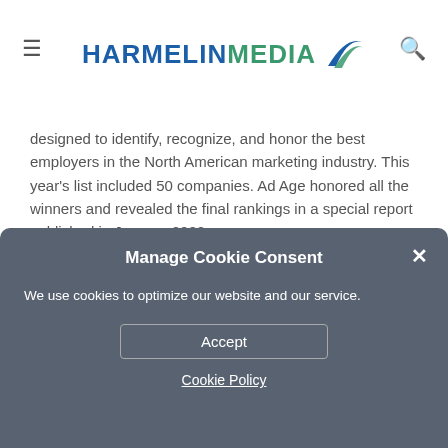HARMELIN MEDIA
designed to identify, recognize, and honor the best employers in the North American marketing industry. This year's list included 50 companies. Ad Age honored all the winners and revealed the final rankings in a special report published in January 2022.
Harmelin’s President Mary Meder is ecstatic over the win. “Given that there are over 13,000 advertising agencies in the US, to be named to this prestigious list yet again is a…
Manage Cookie Consent
We use cookies to optimize our website and our service.
Accept
Cookie Policy